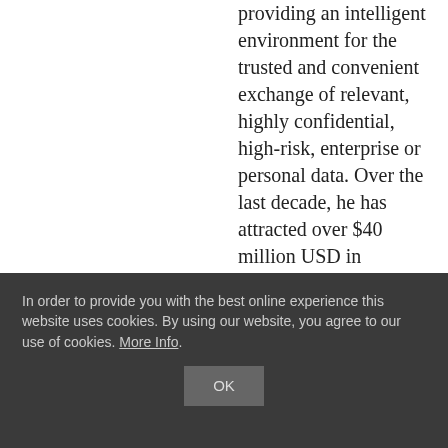providing an intelligent environment for the trusted and convenient exchange of relevant, highly confidential, high-risk, enterprise or personal data. Over the last decade, he has attracted over $40 million USD in investment and venture capital. Sean has additionally received national recognition from industry and business publications, such as Network World, Network Computing, Software Magazine, IT Security, The Wall Street Journal and Forbes.
Follow:
[Figure (logo): LinkedIn orange circular logo icon with white 'in' text]
In order to provide you with the best online experience this website uses cookies. By using our website, you agree to our use of cookies. More Info.